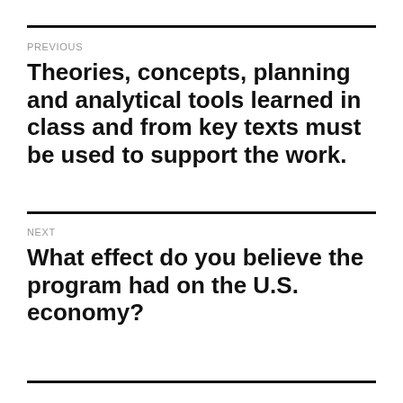PREVIOUS
Theories, concepts, planning and analytical tools learned in class and from key texts must be used to support the work.
NEXT
What effect do you believe the program had on the U.S. economy?